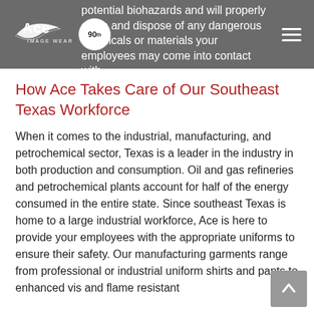potential biohazards and will properly clean and dispose of any dangerous chemicals or materials your employees may come into contact with.
How Ace Takes Care of Our Southeast Texas Workforce
When it comes to the industrial, manufacturing, and petrochemical sector, Texas is a leader in the industry in both production and consumption. Oil and gas refineries and petrochemical plants account for half of the energy consumed in the entire state. Since southeast Texas is home to a large industrial workforce, Ace is here to provide your employees with the appropriate uniforms to ensure their safety. Our manufacturing garments range from professional or industrial uniform shirts and pants to enhanced vis and flame resistant